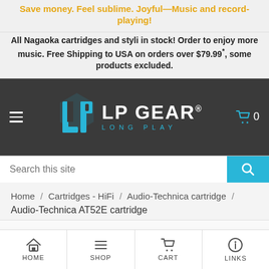Save money. Feel sublime. Joyful—Music and record-playing!
All Nagaoka cartridges and styli in stock! Order to enjoy more music. Free Shipping to USA on orders over $79.99*, some products excluded.
[Figure (logo): LP Gear Long Play logo — geometric blue 'LP' monogram with 'LP GEAR® LONG PLAY' wordmark on dark background, hamburger menu on left, shopping cart icon with 0 on right]
[Figure (screenshot): Search bar with placeholder 'Search this site' and cyan search button with magnifier icon]
Home / Cartridges - HiFi / Audio-Technica cartridge / Audio-Technica AT52E cartridge
HOME  SHOP  CART  LINKS